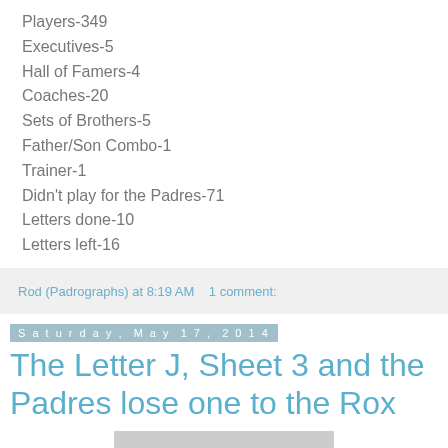Players-349
Executives-5
Hall of Famers-4
Coaches-20
Sets of Brothers-5
Father/Son Combo-1
Trainer-1
Didn't play for the Padres-71
Letters done-10
Letters left-16
Rod (Padrographs) at 8:19 AM    1 comment:
Saturday, May 17, 2014
The Letter J, Sheet 3 and the Padres lose one to the Rox
[Figure (photo): Photograph at bottom of page, partially visible]